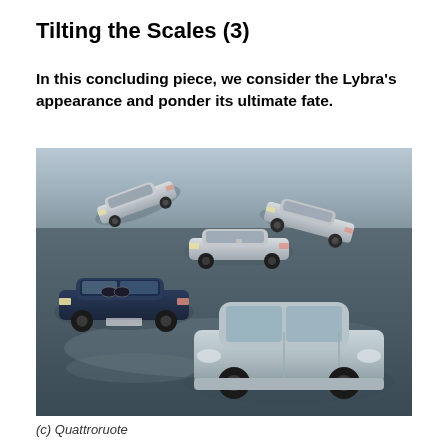Tilting the Scales (3)
In this concluding piece, we consider the Lybra's appearance and ponder its ultimate fate.
[Figure (photo): Overhead/elevated view of five sedans arranged in a circular pattern on a wet parking lot surface. A silver Lancia Lybra is prominently positioned in the foreground (center-right), a dark navy BMW 3-series is on the left, a silver Mercedes C-class is in the center-back, a silver Alfa Romeo 156 is in the upper-left background, and a silver Volkswagen/Audi sedan is in the upper-right background.]
(c) Quattroruote